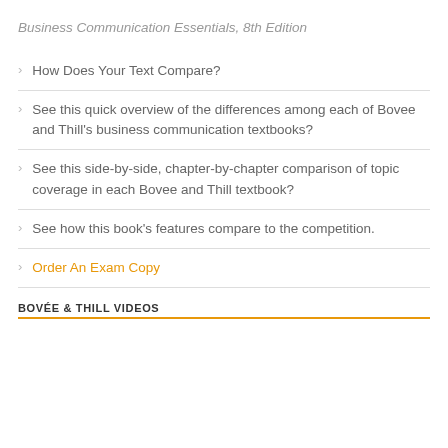Business Communication Essentials, 8th Edition
How Does Your Text Compare?
See this quick overview of the differences among each of Bovee and Thill's business communication textbooks?
See this side-by-side, chapter-by-chapter comparison of topic coverage in each Bovee and Thill textbook?
See how this book's features compare to the competition.
Order An Exam Copy
BOVÉE & THILL VIDEOS